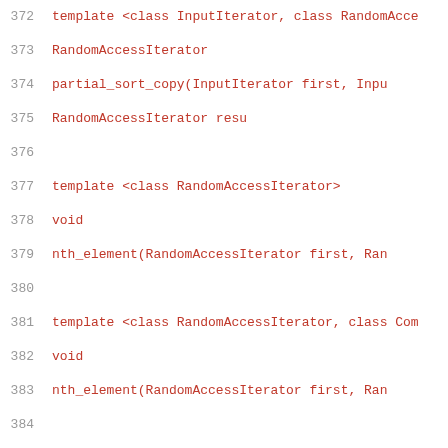372  template <class InputIterator, class RandomAcce
373       RandomAccessIterator
374       partial_sort_copy(InputIterator first, Inpu
375                         RandomAccessIterator resu
376
377  template <class RandomAccessIterator>
378       void
379       nth_element(RandomAccessIterator first, Ran
380
381  template <class RandomAccessIterator, class Com
382       void
383       nth_element(RandomAccessIterator first, Ran
384
385  template <class ForwardIterator, class T>
386       constexpr ForwardIterator
387       lower_bound(ForwardIterator first, ForwardI
388
389  template <class ForwardIterator, class T, class
390       constexpr ForwardIterator
391       lower_bound(ForwardIterator first, ForwardI
392
393  template <class ForwardIterator, class T...